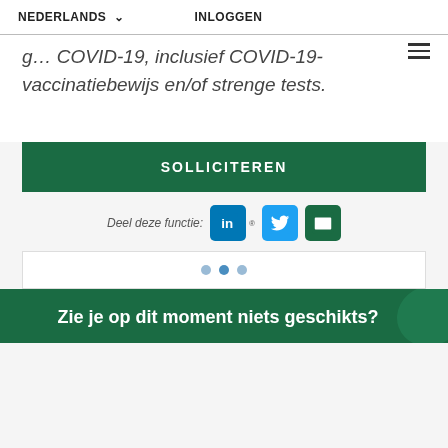NEDERLANDS ∨  INLOGGEN
g... COVID-19, inclusief COVID-19-vaccinatiebewijs en/of strenge tests.
SOLLICITEREN
Deel deze functie:
[Figure (other): Three pagination dots]
Zie je op dit moment niets geschikts?